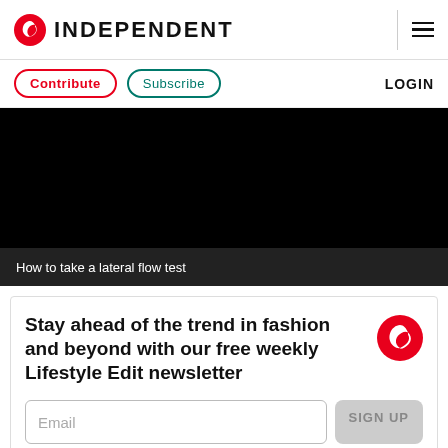INDEPENDENT
Contribute  Subscribe  LOGIN
[Figure (screenshot): Black video player area showing a dark/blank video frame]
How to take a lateral flow test
Stay ahead of the trend in fashion and beyond with our free weekly Lifestyle Edit newsletter
Email  SIGN UP